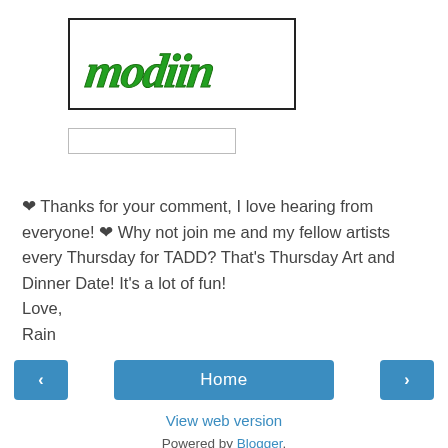[Figure (logo): Green stylized graffiti-style logo text reading 'modiin' inside a black-bordered rectangle]
[Figure (screenshot): Empty text input/search box with a light gray border]
❤ Thanks for your comment, I love hearing from everyone! ❤ Why not join me and my fellow artists every Thursday for TADD? That's Thursday Art and Dinner Date! It's a lot of fun!
Love,
Rain
‹
Home
›
View web version
Powered by Blogger.